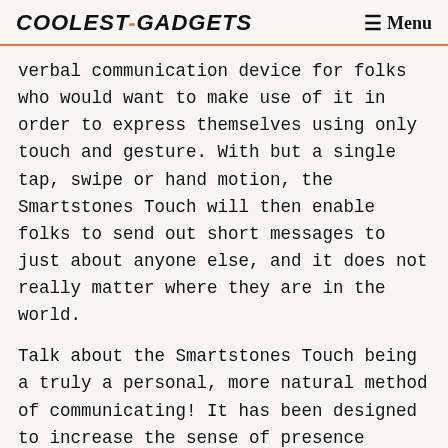COOLEST-GADGETS  ☰ Menu
verbal communication device for folks who would want to make use of it in order to express themselves using only touch and gesture. With but a single tap, swipe or hand motion, the Smartstones Touch will then enable folks to send out short messages to just about anyone else, and it does not really matter where they are in the world.
Talk about the Smartstones Touch being a truly a personal, more natural method of communicating! It has been designed to increase the sense of presence between the people in your circle, and best of all is, there is no screen for you to look at – which translates to not having a complicated